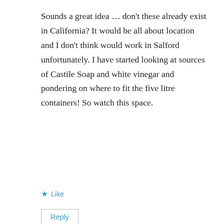Sounds a great idea … don't these already exist in California? It would be all about location and I don't think would work in Salford unfortunately. I have started looking at sources of Castile Soap and white vinegar and pondering on where to fit the five litre containers! So watch this space.
★ Like
Reply
Pingback: Reducing our use of plastic progress report – Back on the road again